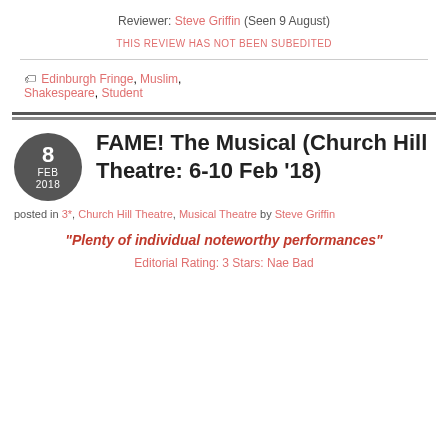Reviewer: Steve Griffin (Seen 9 August)
THIS REVIEW HAS NOT BEEN SUBEDITED
Edinburgh Fringe, Muslim, Shakespeare, Student
FAME! The Musical (Church Hill Theatre: 6-10 Feb '18)
posted in 3*, Church Hill Theatre, Musical Theatre by Steve Griffin
“Plenty of individual noteworthy performances”
Editorial Rating: 3 Stars: Nae Bad